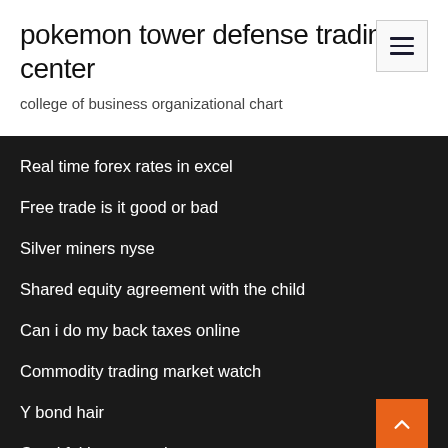pokemon tower defense trading center
college of business organizational chart
Real time forex rates in excel
Free trade is it good or bad
Silver miners nyse
Shared equity agreement with the child
Can i do my back taxes online
Commodity trading market watch
Y bond hair
Good faith contract language
Top short movies 2020